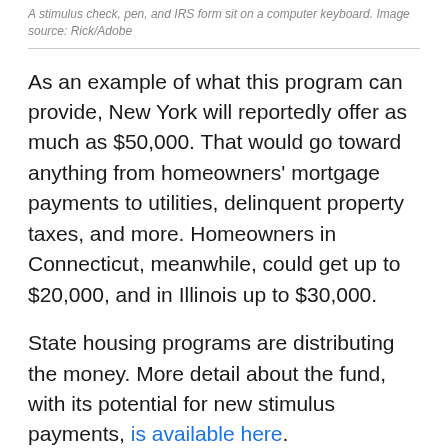A stimulus check, pen, and IRS form sit on a computer keyboard. Image source: Rick/Adobe
As an example of what this program can provide, New York will reportedly offer as much as $50,000. That would go toward anything from homeowners' mortgage payments to utilities, delinquent property taxes, and more. Homeowners in Connecticut, meanwhile, could get up to $20,000, and in Illinois up to $30,000.
State housing programs are distributing the money. More detail about the fund, with its potential for new stimulus payments, is available here.